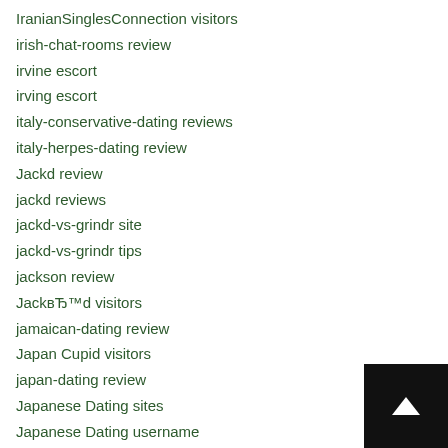IranianSinglesConnection visitors
irish-chat-rooms review
irvine escort
irving escort
italy-conservative-dating reviews
italy-herpes-dating review
Jackd review
jackd reviews
jackd-vs-grindr site
jackd-vs-grindr tips
jackson review
JackвЂ™d visitors
jamaican-dating review
Japan Cupid visitors
japan-dating review
Japanese Dating sites
Japanese Dating username
Jaumo review
jaumo reviews